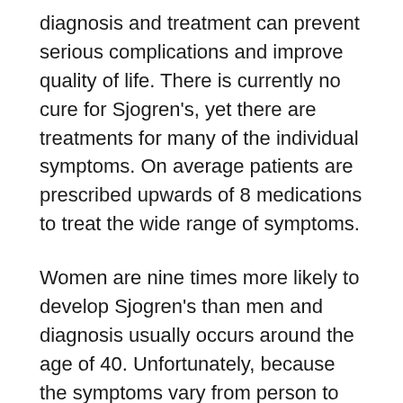diagnosis and treatment can prevent serious complications and improve quality of life. There is currently no cure for Sjogren's, yet there are treatments for many of the individual symptoms. On average patients are prescribed upwards of 8 medications to treat the wide range of symptoms.
Women are nine times more likely to develop Sjogren's than men and diagnosis usually occurs around the age of 40. Unfortunately, because the symptoms vary from person to person, and the disease often occurs in the presence of or mimics other diseases (such as lupus, rheumatoid arthritis, menopause, allergies or multiple sclerosis) the disease is often misdiagnosed or overlooked. Further, because the symptoms can affect different parts of the body system such as the teeth, eyes or musculoskeletal system, various health professionals are sought to diagnose or treat specific symptoms (such as rheumatologists, dentists or eye doctors) while the big